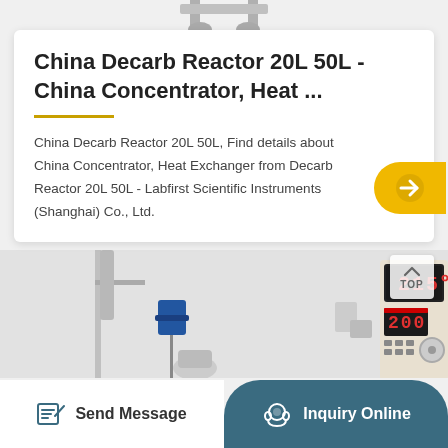[Figure (photo): Top portion of a laboratory reactor equipment shown at the top of the page above the product card]
China Decarb Reactor 20L 50L - China Concentrator, Heat ...
China Decarb Reactor 20L 50L, Find details about China Concentrator, Heat Exchanger from Decarb Reactor 20L 50L - Labfirst Scientific Instruments (Shanghai) Co., Ltd.
[Figure (photo): Laboratory reactor equipment setup with stainless steel stand, blue motor, and control unit showing temperature display reading 215C and another reading 200]
Send Message
Inquiry Online